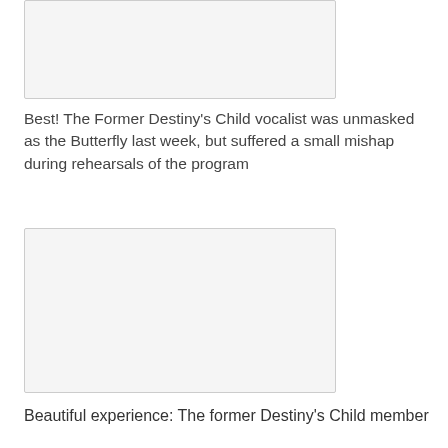[Figure (photo): Partially visible image at the top of the page, cropped — only the bottom portion visible showing a light gray/white area with a border.]
Best! The Former Destiny’s Child vocalist was unmasked as the Butterfly last week, but suffered a small mishap during rehearsals of the program
[Figure (photo): A large rectangular image placeholder with a light gray background and thin gray border.]
Beautiful experience: The former Destiny’s Child member called it a ‘beautiful experience’
‘It was a beautiful experience,’ offered Michelle, 40, who’d been away from the spotlight for a year after a breakup and a breakdown that saw her leave the cast of a Broadway show...